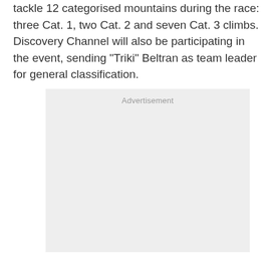tackle 12 categorised mountains during the race: three Cat. 1, two Cat. 2 and seven Cat. 3 climbs. Discovery Channel will also be participating in the event, sending "Triki" Beltran as team leader for general classification.
[Figure (other): Advertisement placeholder box with light gray background and 'Advertisement' label text centered at top.]